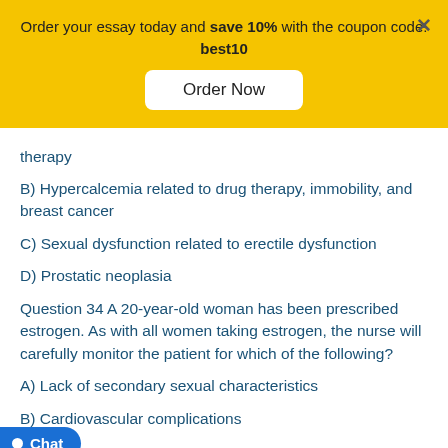Order your essay today and save 10% with the coupon code: best10
therapy
B) Hypercalcemia related to drug therapy, immobility, and breast cancer
C) Sexual dysfunction related to erectile dysfunction
D) Prostatic neoplasia
Question 34 A 20-year-old woman has been prescribed estrogen. As with all women taking estrogen, the nurse will carefully monitor the patient for which of the following?
A) Lack of secondary sexual characteristics
B) Cardiovascular complications